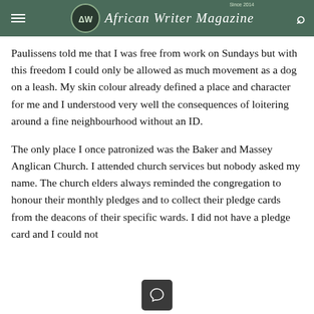African Writer Magazine — Since 2014
Paulissens told me that I was free from work on Sundays but with this freedom I could only be allowed as much movement as a dog on a leash. My skin colour already defined a place and character for me and I understood very well the consequences of loitering around a fine neighbourhood without an ID.
The only place I once patronized was the Baker and Massey Anglican Church. I attended church services but nobody asked my name. The church elders always reminded the congregation to honour their monthly pledges and to collect their pledge cards from the deacons of their specific wards. I did not have a pledge card and I could not